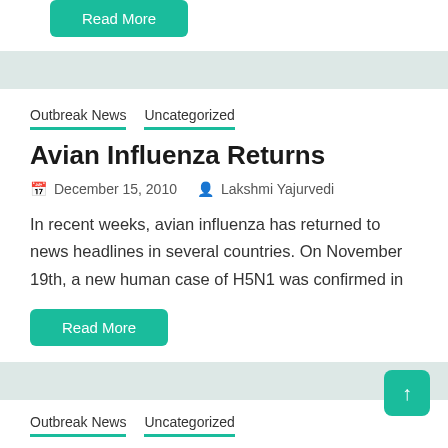[Figure (other): Green 'Read More' button at top of page]
Outbreak News   Uncategorized
Avian Influenza Returns
December 15, 2010   Lakshmi Yajurvedi
In recent weeks, avian influenza has returned to news headlines in several countries. On November 19th, a new human case of H5N1 was confirmed in
[Figure (other): Green 'Read More' button]
Outbreak News   Uncategorized
Avian Influenza Spreads Human...